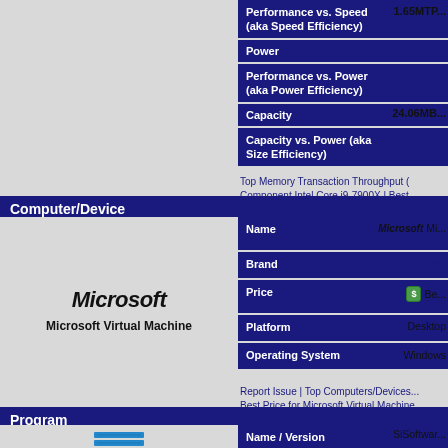| Property | Value |
| --- | --- |
| Performance vs. Speed (aka Speed Efficiency) | 1.65MTP... |
| Power |  |
| Performance vs. Power (aka Power Efficiency) |  |
| Capacity | 24.06MB... |
| Capacity vs. Power (aka Size Efficiency) |  |
Top Memory Transaction Throughput ( Component Intel Core i9-7900X | Best...
Computer/Device
[Figure (logo): Microsoft logo in bold italic text]
Microsoft Virtual Machine
| Property | Value |
| --- | --- |
| Name | Microsoft Mi... |
| Brand | Microsoft |
| Price | Be... |
| Platform | Desktop |
| Operating System | Windows |
Report Issue | Top Computers/Devices... Best Price for Microsoft Virtual Machine...
Program
[Figure (logo): SiSoftware application icon - blue database/server icon]
| Property | Value |
| --- | --- |
| Name / Version | SiSoftwar... |
| Registered | Yes |